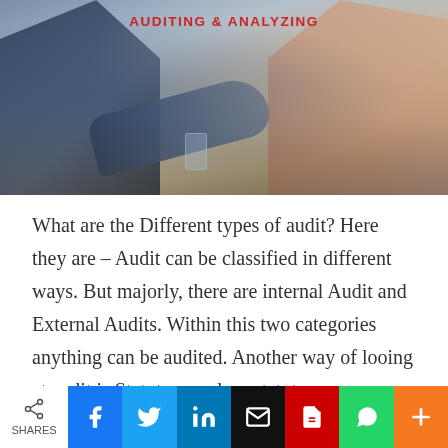[Figure (photo): Photo of business people at a meeting table with text overlay 'AUDITING & ANALYZING' at the top]
What are the Different types of audit? Here they are – Audit can be classified in different ways. But majorly, there are internal Audit and External Audits. Within this two categories anything can be audited. Another way of looing at audit is Statutory and no-statutory (administrate) audit. Therefore, one way or the other all the enumerated types of audit in this post can be classified under the first category or
[Figure (infographic): Social share bar with buttons: SHARES icon, Facebook, Twitter, LinkedIn, Email, PDF, WhatsApp, Plus]